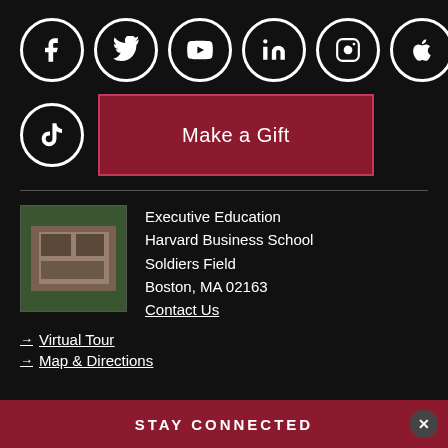[Figure (infographic): Row of six social media icon circles: Facebook, Twitter, YouTube, LinkedIn, Instagram, Apple]
[Figure (infographic): TikTok icon circle and 'Make a Gift' crimson button]
Executive Education
Harvard Business School
Soldiers Field
Boston, MA 02163
Contact Us
[Figure (photo): Aerial photo of Harvard Business School campus building]
Virtual Tour
Map & Directions
STAY CONNECTED